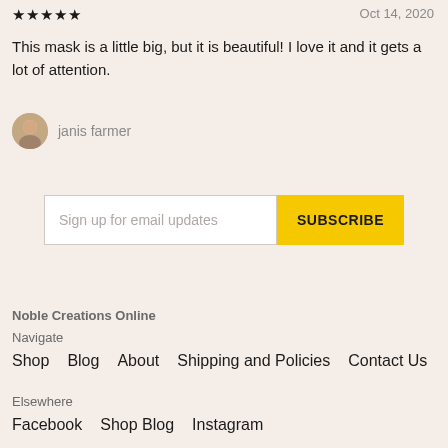★★★★★  Oct 14, 2020
This mask is a little big, but it is beautiful! I love it and it gets a lot of attention.
janis farmer
Sign up for email updates  SUBSCRIBE
Noble Creations Online
Navigate
Shop   Blog   About   Shipping and Policies   Contact Us
Elsewhere
Facebook   Shop Blog   Instagram